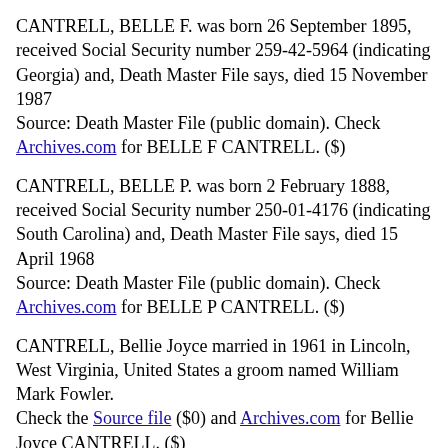CANTRELL, BELLE F. was born 26 September 1895, received Social Security number 259-42-5964 (indicating Georgia) and, Death Master File says, died 15 November 1987
Source: Death Master File (public domain). Check Archives.com for BELLE F CANTRELL. ($)
CANTRELL, BELLE P. was born 2 February 1888, received Social Security number 250-01-4176 (indicating South Carolina) and, Death Master File says, died 15 April 1968
Source: Death Master File (public domain). Check Archives.com for BELLE P CANTRELL. ($)
CANTRELL, Bellie Joyce married in 1961 in Lincoln, West Virginia, United States a groom named William Mark Fowler.
Check the Source file ($0) and Archives.com for Bellie Joyce CANTRELL. ($)
CANTRELL, BELMA (bride) of Morgan County...